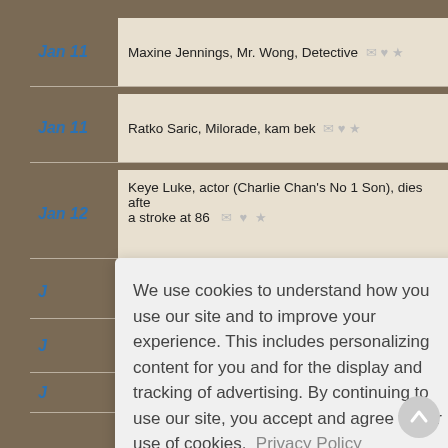Jan 11 — Maxine Jennings, Mr. Wong, Detective
Jan 11 — Ratko Saric, Milorade, kam bek
Jan 12 — Keye Luke, actor (Charlie Chan's No 1 Son), dies after a stroke at 86
We use cookies to understand how you use our site and to improve your experience. This includes personalizing content for you and for the display and tracking of advertising. By continuing to use our site, you accept and agree to our use of cookies. Privacy Policy
Got it!